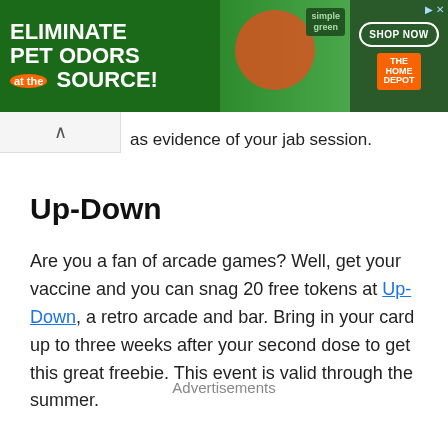[Figure (other): Advertisement banner with green background. Left side shows 'ELIMINATE PET ODORS AT THE SOURCE!' text in white bold letters on dark green. Middle section has tropical/lifestyle imagery. Right side shows Simple Green product, 'SHOP NOW' button in white border, and The Home Depot orange logo.]
as evidence of your jab session.
Up-Down
Are you a fan of arcade games? Well, get your vaccine and you can snag 20 free tokens at Up-Down, a retro arcade and bar. Bring in your card up to three weeks after your second dose to get this great freebie. This event is valid through the summer.
Advertisements